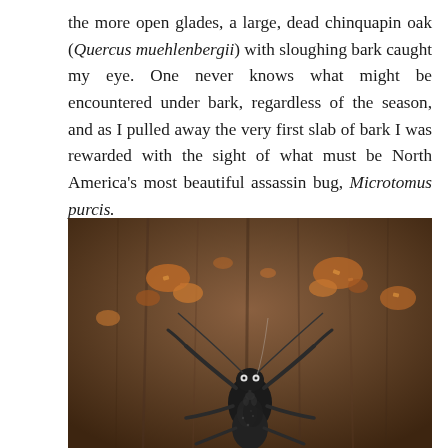the more open glades, a large, dead chinquapin oak (Quercus muehlenbergii) with sloughing bark caught my eye. One never knows what might be encountered under bark, regardless of the season, and as I pulled away the very first slab of bark I was rewarded with the sight of what must be North America's most beautiful assassin bug, Microtomus purcis.
[Figure (photo): Close-up macro photograph of an assassin bug (Microtomus purcis) on bark. The black insect is centered in the lower portion of the image, with its forelegs raised upward and antennae extended. The background is textured brown tree bark with some orange-brown debris.]